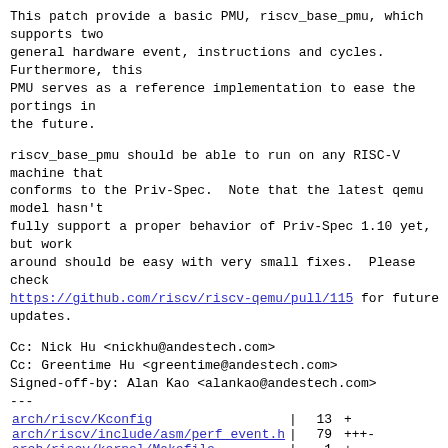This patch provide a basic PMU, riscv_base_pmu, which supports two
general hardware event, instructions and cycles.  Furthermore, this
PMU serves as a reference implementation to ease the portings in
the future.
riscv_base_pmu should be able to run on any RISC-V machine that
conforms to the Priv-Spec.  Note that the latest qemu model hasn't
fully support a proper behavior of Priv-Spec 1.10 yet, but work
around should be easy with very small fixes.  Please check
https://github.com/riscv/riscv-qemu/pull/115 for future updates.
Cc: Nick Hu <nickhu@andestech.com>
Cc: Greentime Hu <greentime@andestech.com>
Signed-off-by: Alan Kao <alankao@andestech.com>
---
| file | pipe | count | marks |
| --- | --- | --- | --- |
| arch/riscv/Kconfig | | | 13 | + |
| arch/riscv/include/asm/perf event.h | | | 79 | +++- |
| arch/riscv/kernel/Makefile | | | 1 | + |
| arch/riscv/kernel/perf event.c | | | 485 |  |
+++++++++++++++++++++++++
 4 files changed, 574 insertions(+), 4 deletions(-)
  ...